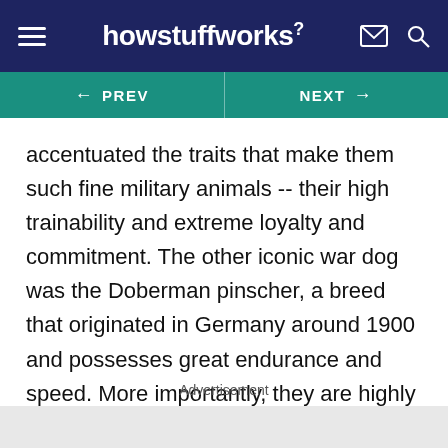howstuffworks
← PREV   NEXT →
accentuated the traits that make them such fine military animals -- their high trainability and extreme loyalty and commitment. The other iconic war dog was the Doberman pinscher, a breed that originated in Germany around 1900 and possesses great endurance and speed. More importantly, they are highly intelligent and could absorb and retain training better than other dogs.
Advertisement